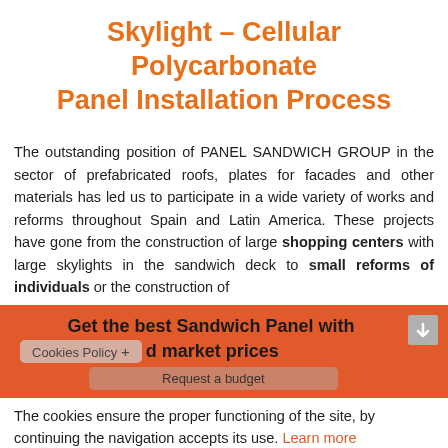Skylight – Cellular Polycarbonate Panel Installation Process
The outstanding position of PANEL SANDWICH GROUP in the sector of prefabricated roofs, plates for facades and other materials has led us to participate in a wide variety of works and reforms throughout Spain and Latin America. These projects have gone from the construction of large shopping centers with large skylights in the sandwich deck to small reforms of individuals or the construction of
Get the best Sandwich Panel with reduced market prices
Cookies Policy +
The cookies ensure the proper functioning of the site, by continuing the navigation accepts its use. Learn more